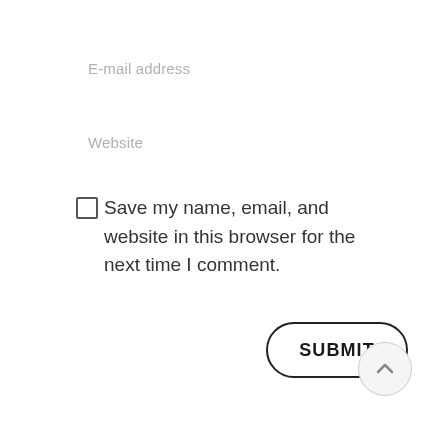E-mail address
Website
Save my name, email, and website in this browser for the next time I comment.
SUBMIT
[Figure (other): Scroll-to-top arrow button, circular with upward arrow icon]